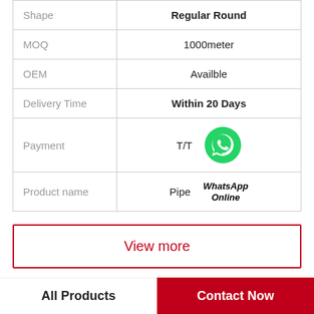|  |  |
| --- | --- |
| Shape | Regular Round |
| MOQ | 1000meter |
| OEM | Availble |
| Delivery Time | Within 20 Days |
| Payment | T/T |
| Product name | Pipe |
View more
Company Profile
All Products
Contact Now